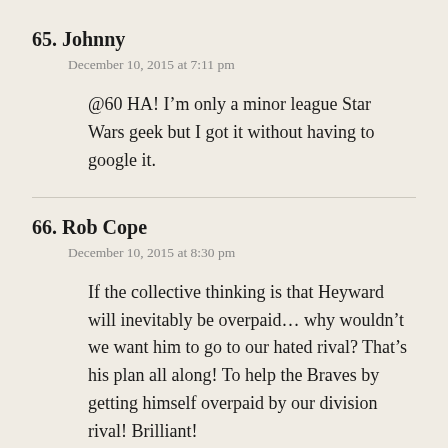65. Johnny
December 10, 2015 at 7:11 pm
@60 HA! I’m only a minor league Star Wars geek but I got it without having to google it.
66. Rob Cope
December 10, 2015 at 8:30 pm
If the collective thinking is that Heyward will inevitably be overpaid… why wouldn’t we want him to go to our hated rival? That’s his plan all along! To help the Braves by getting himself overpaid by our division rival! Brilliant!